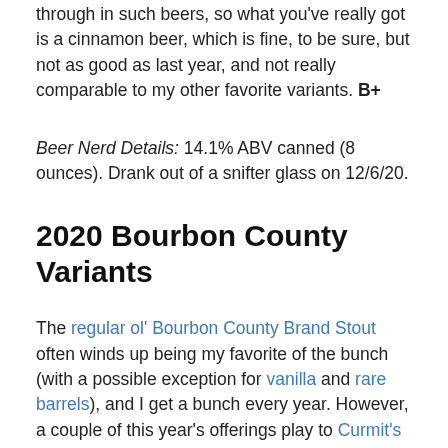through in such beers, so what you've really got is a cinnamon beer, which is fine, to be sure, but not as good as last year, and not really comparable to my other favorite variants. B+
Beer Nerd Details: 14.1% ABV canned (8 ounces). Drank out of a snifter glass on 12/6/20.
2020 Bourbon County Variants
The regular ol' Bourbon County Brand Stout often winds up being my favorite of the bunch (with a possible exception for vanilla and rare barrels), and I get a bunch every year. However, a couple of this year's offerings play to Curmit's (the name for my